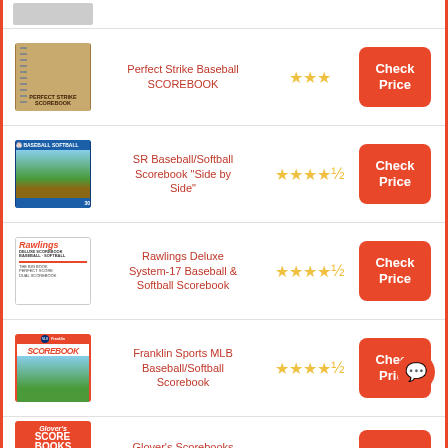Perfect Strike Baseball SCOREBOOK
SR Baseball/Softball Scorebook "Side by Side"
Rawlings Deluxe System-17 Baseball & Softball Scorebook
Franklin Sports MLB Baseball/Softball Scorebook
Glover's Scorebooks Short Form